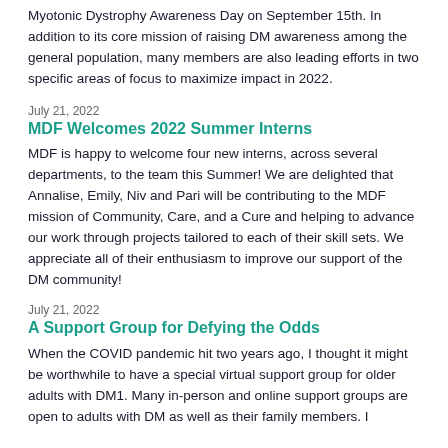Myotonic Dystrophy Awareness Day on September 15th. In addition to its core mission of raising DM awareness among the general population, many members are also leading efforts in two specific areas of focus to maximize impact in 2022.
July 21, 2022
MDF Welcomes 2022 Summer Interns
MDF is happy to welcome four new interns, across several departments, to the team this Summer! We are delighted that Annalise, Emily, Niv and Pari will be contributing to the MDF mission of Community, Care, and a Cure and helping to advance our work through projects tailored to each of their skill sets. We appreciate all of their enthusiasm to improve our support of the DM community!
July 21, 2022
A Support Group for Defying the Odds
When the COVID pandemic hit two years ago, I thought it might be worthwhile to have a special virtual support group for older adults with DM1. Many in-person and online support groups are open to adults with DM as well as their family members. I